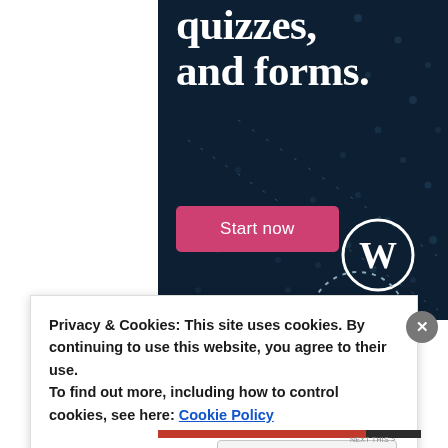[Figure (screenshot): Dark navy blue banner advertisement with white serif text reading 'quizzes, and forms.' and a pink 'Start now' button, WordPress logo (W in circle) visible at bottom right, decorative dot pattern scattered throughout background]
Privacy & Cookies: This site uses cookies. By continuing to use this website, you agree to their use.
To find out more, including how to control cookies, see here: Cookie Policy
Close and accept